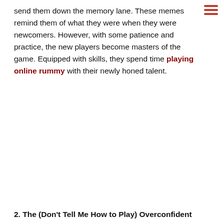send them down the memory lane. These memes remind them of what they were when they were newcomers. However, with some patience and practice, the new players become masters of the game. Equipped with skills, they spend time playing online rummy with their newly honed talent.
2. The (Don't Tell Me How to Play) Overconfident